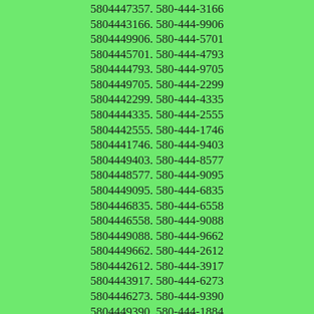5804447357. 580-444-3166 5804443166. 580-444-9906 5804449906. 580-444-5701 5804445701. 580-444-4793 5804444793. 580-444-9705 5804449705. 580-444-2299 5804442299. 580-444-4335 5804444335. 580-444-2555 5804442555. 580-444-1746 5804441746. 580-444-9403 5804449403. 580-444-8577 5804448577. 580-444-9095 5804449095. 580-444-6835 5804446835. 580-444-6558 5804446558. 580-444-9088 5804449088. 580-444-9662 5804449662. 580-444-2612 5804442612. 580-444-3917 5804443917. 580-444-6273 5804446273. 580-444-9390 5804449390. 580-444-1884 5804441884. 580-444-9278 5804449278. 580-444-0317 Caller Name Identify My Caller 5804440317. 580-444-5167 5804445167. 580-444-2155